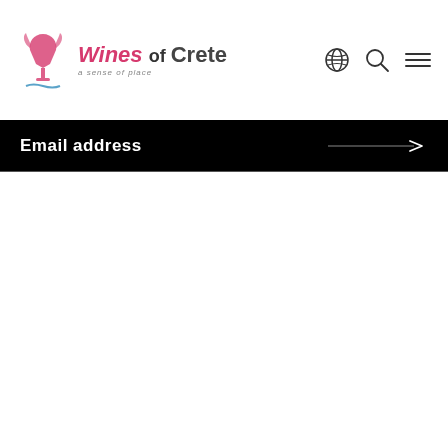Wines of Crete — a sense of place | Navigation icons: globe, search, menu
Email address →
Follow us [Instagram] [Facebook] [Twitter] [Pinterest] [YouTube]
About us
Photo Gallery
Downloads
Contact
News & Events
Press Reviews
Newsletter
Videos
Sitemap
Terms of Use